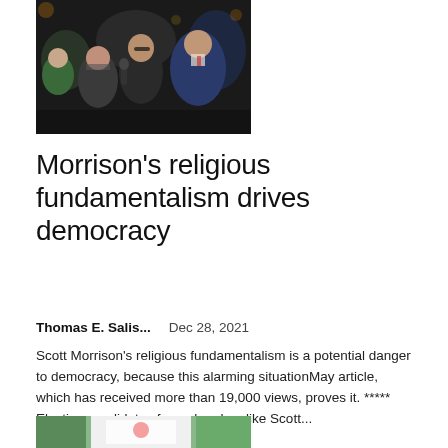[Figure (photo): Photo of people at a gathering or event, dark background, several figures including a woman and men in suits, one holding a microphone]
Morrison’s religious fundamentalism drives democracy
Thomas E. Salis...    Dec 28, 2021
Scott Morrison's religious fundamentalism is a potential danger to democracy, because this alarming situationMay article, which has received more than 19,000 views, proves it. ***** Electing candidates from churches like Scott...
[Figure (photo): Partial photo visible at bottom of page, appears to show a storefront or building exterior]